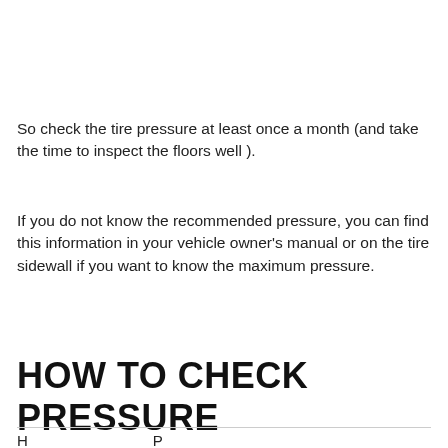So check the tire pressure at least once a month (and take the time to inspect the floors well ).
If you do not know the recommended pressure, you can find this information in your vehicle owner's manual or on the tire sidewall if you want to know the maximum pressure.
HOW TO CHECK PRESSURE
H                              P